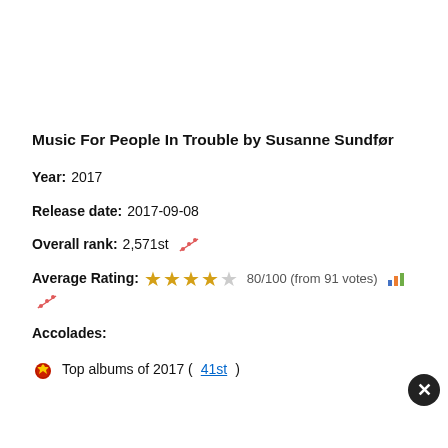Music For People In Trouble by Susanne Sundfør
Year: 2017
Release date: 2017-09-08
Overall rank: 2,571st
Average Rating: 80/100 (from 91 votes)
Accolades:
Top albums of 2017 (41st)